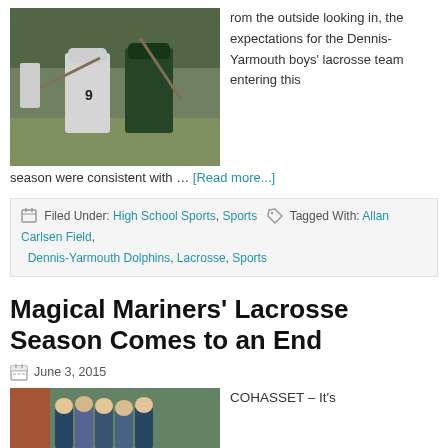[Figure (photo): Two lacrosse players in action on a field, one wearing white jersey number 9]
rom the outside looking in, the expectations for the Dennis-Yarmouth boys' lacrosse team entering this season were consistent with … [Read more...]
Filed Under: High School Sports, Sports   Tagged With: Allan Carlsen Field, Dennis-Yarmouth Dolphins, Lacrosse, Sports
Magical Mariners' Lacrosse Season Comes to an End
June 3, 2015
[Figure (photo): Group of female lacrosse players posing on a field]
COHASSET – It's